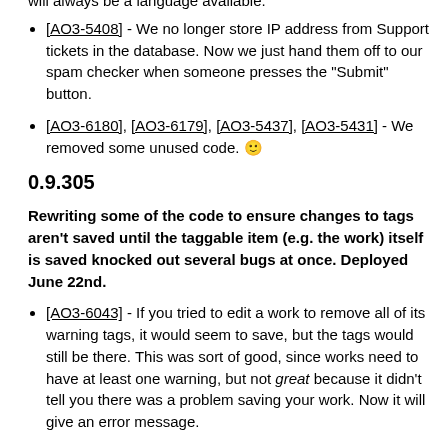will always be a language available.
[AO3-5408] - We no longer store IP address from Support tickets in the database. Now we just hand them off to our spam checker when someone presses the "Submit" button.
[AO3-6180], [AO3-6179], [AO3-5437], [AO3-5431] - We removed some unused code. 🙂
0.9.305
Rewriting some of the code to ensure changes to tags aren't saved until the taggable item (e.g. the work) itself is saved knocked out several bugs at once. Deployed June 22nd.
[AO3-6043] - If you tried to edit a work to remove all of its warning tags, it would seem to save, but the tags would still be there. This was sort of good, since works need to have at least one warning, but not great because it didn't tell you there was a problem saving your work. Now it will give an error message.
[AO3-5978] - If you tried to edit a bookmark to add a tag that was over 100 characters long (the maximum length for tags), you'd get either a 422 error or a blank white page depending on your browser. Now you'll get redirected to the editing form with a note that your tag is too long.
[AO3-4932] - Removing a work's fandom and pressing Cancel on the resulting error page used to save the work without a fandom, which was terrible; all works need at least one fandom tag! We've